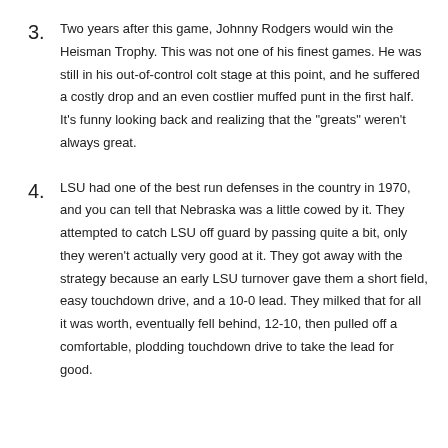Two years after this game, Johnny Rodgers would win the Heisman Trophy. This was not one of his finest games. He was still in his out-of-control colt stage at this point, and he suffered a costly drop and an even costlier muffed punt in the first half. It's funny looking back and realizing that the "greats" weren't always great.
LSU had one of the best run defenses in the country in 1970, and you can tell that Nebraska was a little cowed by it. They attempted to catch LSU off guard by passing quite a bit, only they weren't actually very good at it. They got away with the strategy because an early LSU turnover gave them a short field, easy touchdown drive, and a 10-0 lead. They milked that for all it was worth, eventually fell behind, 12-10, then pulled off a comfortable, plodding touchdown drive to take the lead for good.